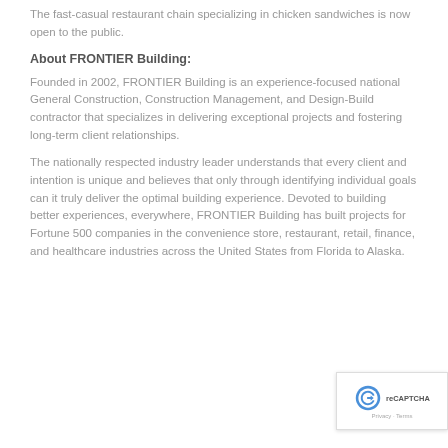The fast-casual restaurant chain specializing in chicken sandwiches is now open to the public.
About FRONTIER Building:
Founded in 2002, FRONTIER Building is an experience-focused national General Construction, Construction Management, and Design-Build contractor that specializes in delivering exceptional projects and fostering long-term client relationships.
The nationally respected industry leader understands that every client and intention is unique and believes that only through identifying individual goals can it truly deliver the optimal building experience. Devoted to building better experiences, everywhere, FRONTIER Building has built projects for Fortune 500 companies in the convenience store, restaurant, retail, finance, and healthcare industries across the United States from Florida to Alaska.